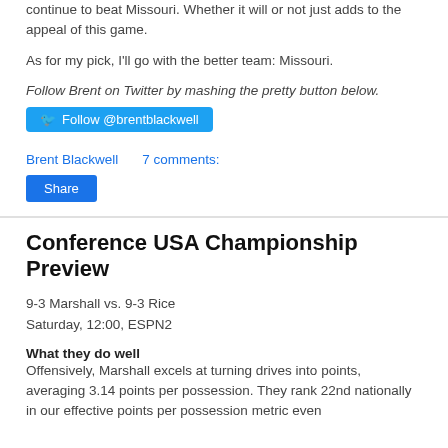continue to beat Missouri. Whether it will or not just adds to the appeal of this game.
As for my pick, I'll go with the better team: Missouri.
Follow Brent on Twitter by mashing the pretty button below.
Follow @brentblackwell
Brent Blackwell    7 comments:
Share
Conference USA Championship Preview
9-3 Marshall vs. 9-3 Rice
Saturday, 12:00, ESPN2
What they do well
Offensively, Marshall excels at turning drives into points, averaging 3.14 points per possession. They rank 22nd nationally in our effective points per possession metric even